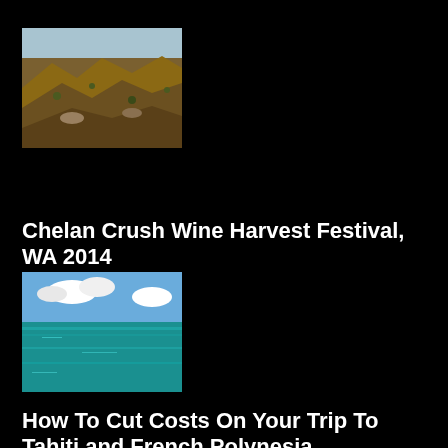[Figure (photo): Landscape photo of arid hills and rocky terrain, brown and golden tones]
Chelan Crush Wine Harvest Festival, WA 2014
[Figure (photo): Tropical turquoise water with blue sky and white clouds]
How To Cut Costs On Your Trip To Tahiti and French Polynesia
[Figure (photo): Evening cityscape with illuminated building, trees, and waterfront]
Victoria BC, Canada 2014
[Figure (photo): Partial view of a fourth photo at the bottom of the page]